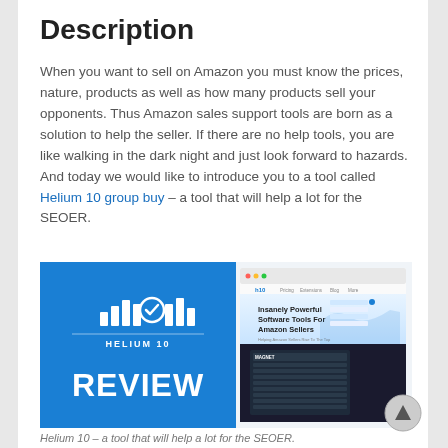Description
When you want to sell on Amazon you must know the prices, nature, products as well as how many products sell your opponents. Thus Amazon sales support tools are born as a solution to help the seller. If there are no help tools, you are like walking in the dark night and just look forward to hazards. And today we would like to introduce you to a tool called Helium 10 group buy – a tool that will help a lot for the SEOER.
[Figure (screenshot): Helium 10 review banner split: left side blue background with Helium 10 logo and REVIEW text; right side showing Helium 10 website screenshot with text 'Insanely Powerful Software Tools For Amazon Sellers']
Helium 10 – a tool that will help a lot for the SEOER.